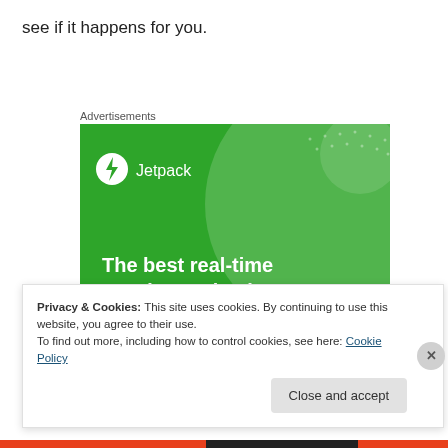see if it happens for you.
Advertisements
[Figure (illustration): Jetpack advertisement banner on green background showing logo with lightning bolt icon and text 'The best real-time WordPress backup plugin']
Privacy & Cookies: This site uses cookies. By continuing to use this website, you agree to their use.
To find out more, including how to control cookies, see here: Cookie Policy
Close and accept